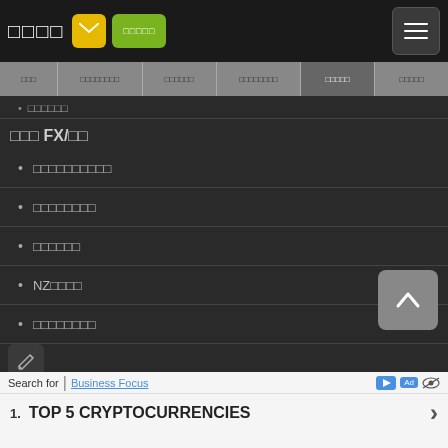□□□□ [email icon] [green button] [hamburger menu]
□□□ | □□□□□□□□ | □□□□□□ | □□□□□□□□ | □□□□□ (active) | □□□□□
□□□□□□
□□□ FX/□□
□□□□□□□□□□
□□□□□□□□
□□□□□□
NZ□□□□
□□□□□□□□
[Figure (other): Back to top button with upward chevron arrow]
Search for | Business Focus Ad 1. TOP 5 CRYPTOCURRENCIES